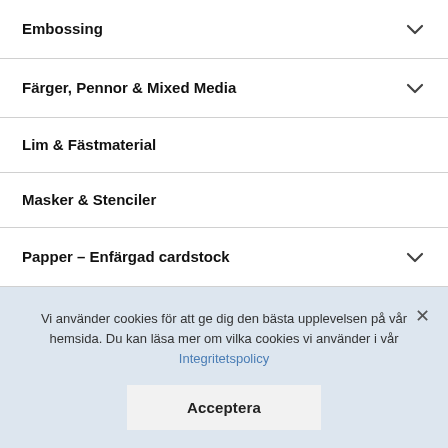Embossing
Färger, Pennor & Mixed Media
Lim & Fästmaterial
Masker & Stenciler
Papper – Enfärgad cardstock
Papper – Mönstrat
Papper – övrigt
Punchar
Vi använder cookies för att ge dig den bästa upplevelsen på vår hemsida. Du kan läsa mer om vilka cookies vi använder i vår Integritetspolicy
Acceptera